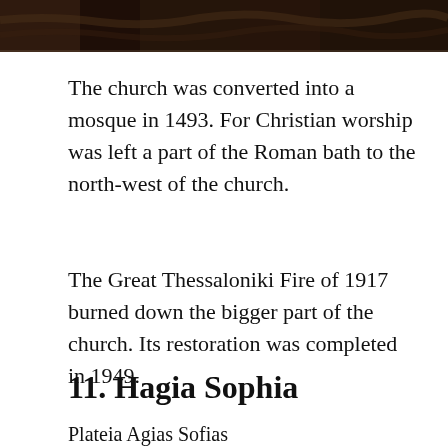[Figure (photo): Top portion of a photograph showing what appears to be a stone or rock surface, dark in color, cropped at the top of the page.]
The church was converted into a mosque in 1493. For Christian worship was left a part of the Roman bath to the north-west of the church.
The Great Thessaloniki Fire of 1917 burned down the bigger part of the church. Its restoration was completed in 1949.
11. Hagia Sophia
Plateia Agias Sofias